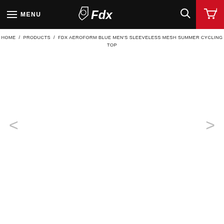MENU | Fdx | 0
HOME / PRODUCTS / FDX AEROFORM BLUE MEN'S SLEEVELESS MESH SUMMER CYCLING TOP
[Figure (other): Empty product image area with left and right navigation arrows for cycling product gallery]